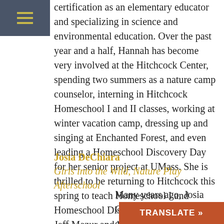certification as an elementary educator and specializing in science and environmental education. Over the past year and a half, Hannah has become very involved at the Hitchcock Center, spending two summers as a nature camp counselor, interning in Hitchcock Homeschool I and II classes, working at winter vacation camp, dressing up and singing at Enchanted Forest, and even leading a Homeschool Discovery Day for her senior project at UMass. She is thrilled to be returning to Hitchcock this spring to teach Homeschool I and Homeschool Discovery Days alongside Jeff Mazur and lead Nature Play Afterschool with the help of Josia DeChiara.
Josia DeChiara
Girls into the Wild, Nature Play Afterschool
Many years ago, Josia Gertz DeChiara was a camp
Hitc